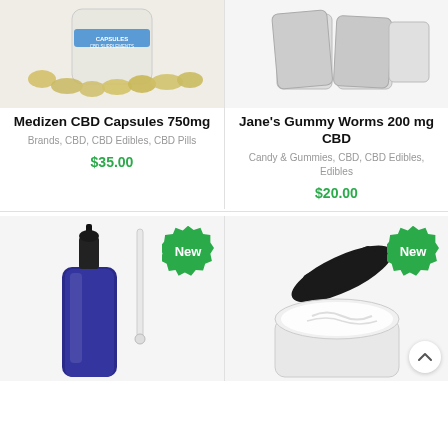[Figure (photo): CBD capsules pill bottle with loose gel capsules in front]
Medizen CBD Capsules 750mg
Brands, CBD, CBD Edibles, CBD Pills
$35.00
[Figure (photo): Jane's Gummy Worms CBD product packets]
Jane’s Gummy Worms 200 mg CBD
Candy & Gummies, CBD, CBD Edibles, Edibles
$20.00
[Figure (photo): Blue dropper bottle with glass dropper, New badge]
[Figure (photo): Cream jar with lid, New badge]